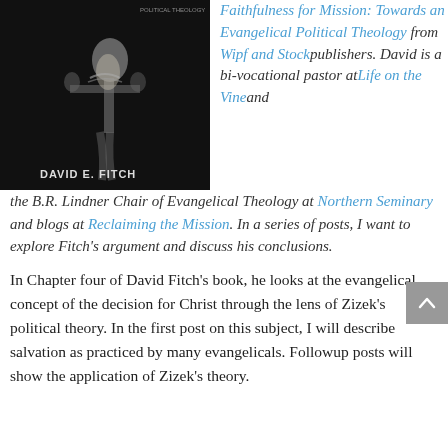[Figure (photo): Book cover showing a crucifix statue against dark background with text 'DAVID E. FITCH' and 'POLITICAL THEOLOGY']
Faithfulness for Mission: Towards an Evangelical Political Theology from Wipf and Stock publishers. David is a bi-vocational pastor at Life on the Vine and the B.R. Lindner Chair of Evangelical Theology at Northern Seminary and blogs at Reclaiming the Mission. In a series of posts, I want to explore Fitch's argument and discuss his conclusions.
In Chapter four of David Fitch's book, he looks at the evangelical concept of the decision for Christ through the lens of Zizek's political theory. In the first post on this subject, I will describe salvation as practiced by many evangelicals. Followup posts will show the application of Zizek's theory.